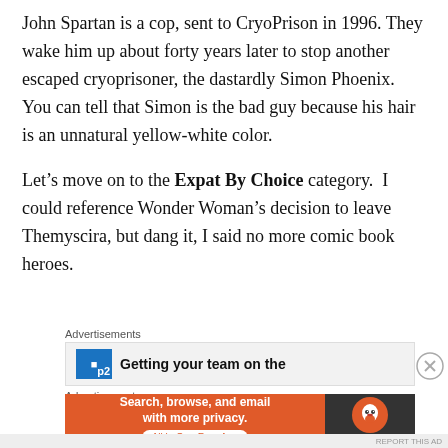John Spartan is a cop, sent to CryoPrison in 1996. They wake him up about forty years later to stop another escaped cryoprisoner, the dastardly Simon Phoenix.  You can tell that Simon is the bad guy because his hair is an unnatural yellow-white color.
Let’s move on to the Expat By Choice category.  I could reference Wonder Woman’s decision to leave Themyscira, but dang it, I said no more comic book heroes.
Advertisements
[Figure (other): Advertisement banner: logo placeholder with 'p2' text and bold text 'Getting your team on the']
Advertisements
[Figure (other): DuckDuckGo advertisement: orange background with text 'Search, browse, and email with more privacy. All in One Free App' and DuckDuckGo logo on dark right panel]